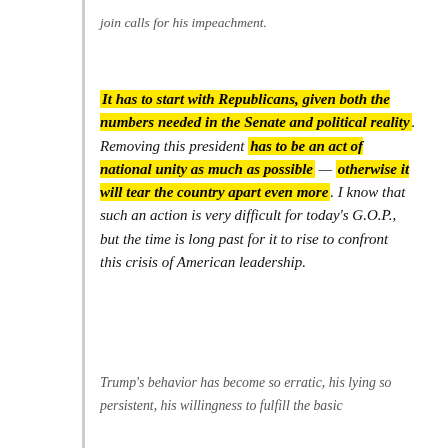join calls for his impeachment.
It has to start with Republicans, given both the numbers needed in the Senate and political reality. Removing this president has to be an act of national unity as much as possible — otherwise it will tear the country apart even more. I know that such an action is very difficult for today's G.O.P., but the time is long past for it to rise to confront this crisis of American leadership.
Trump's behavior has become so erratic, his lying so persistent, his willingness to fulfill the basic